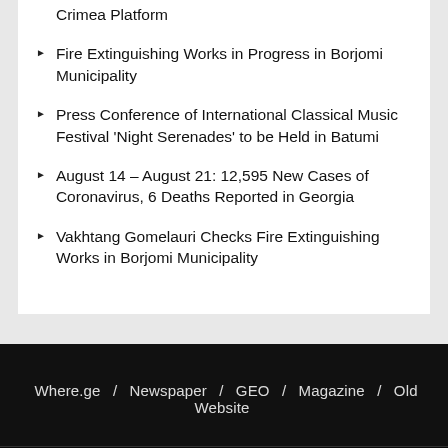Crimea Platform
Fire Extinguishing Works in Progress in Borjomi Municipality
Press Conference of International Classical Music Festival 'Night Serenades' to be Held in Batumi
August 14 – August 21: 12,595 New Cases of Coronavirus, 6 Deaths Reported in Georgia
Vakhtang Gomelauri Checks Fire Extinguishing Works in Borjomi Municipality
Where.ge / Newspaper / GEO / Magazine / Old Website
2000-2022 © Georgia Today